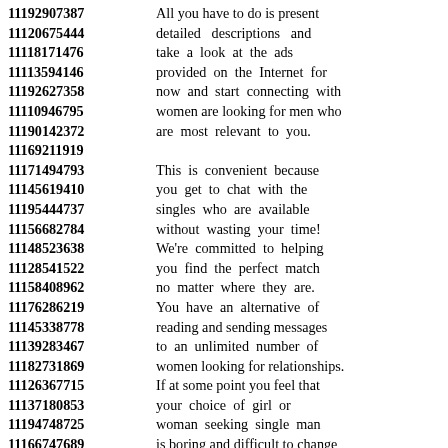11192907387 All you have to do is present
11120675444 detailed descriptions and
11118171476 take a look at the ads
11113594146 provided on the Internet for
11192627358 now and start connecting with
11110946795 women are looking for men who
11190142372 are most relevant to you.
11169211919
11171494793 This is convenient because
11145619410 you get to chat with the
11195444737 singles who are available
11156682784 without wasting your time!
11148523638 We're committed to helping
11128541522 you find the perfect match
11158408962 no matter where they are.
11176286219 You have an alternative of
11145338778 reading and sending messages
11139283467 to an unlimited number of
11182731869 women looking for relationships.
11126367715 If at some point you feel that
11137180853 your choice of girl or
11194748725 woman seeking single man
11166747689 is boring and difficult to change
11162158914 you can remove them and
11174313716 pretend as if nothing